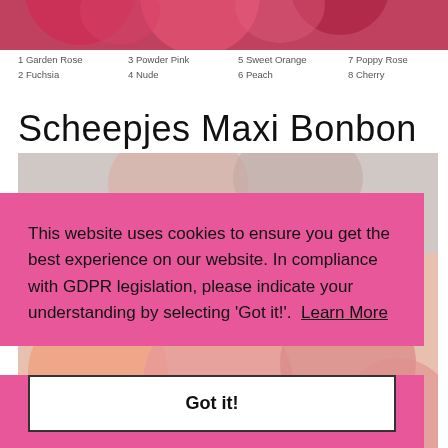[Figure (photo): Cropped top portion of colorful yarn balls in reds, pinks, and oranges]
1 Garden Rose
2 Fuchsia
3 Powder Pink
4 Nude
5 Sweet Orange
6 Peach
7 Poppy Rose
8 Cherry
Scheepjes Maxi Bonbon
[Figure (photo): Product photo of Scheepjes Maxi Bonbon yarn balls in various pink and orange shades, partially obscured by cookie consent overlay]
This website uses cookies to ensure you get the best experience on our website. In compliance with GDPR legislation, please indicate your understanding by selecting 'Got it!'.  Learn More
Got it!